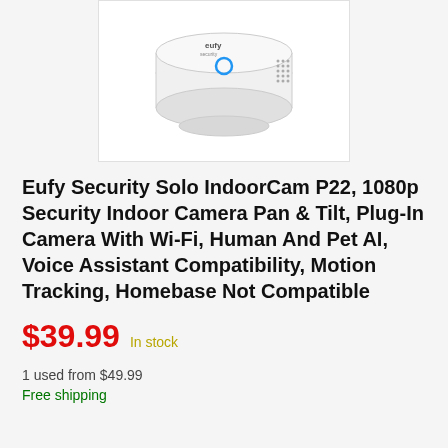[Figure (photo): Eufy Security Solo IndoorCam P22 product photo showing a small white cylindrical smart camera from above, with the eufy security logo and a blue LED indicator on top, and a speaker grille on the side.]
Eufy Security Solo IndoorCam P22, 1080p Security Indoor Camera Pan & Tilt, Plug-In Camera With Wi-Fi, Human And Pet AI, Voice Assistant Compatibility, Motion Tracking, Homebase Not Compatible
$39.99  In stock
1 used from $49.99
Free shipping